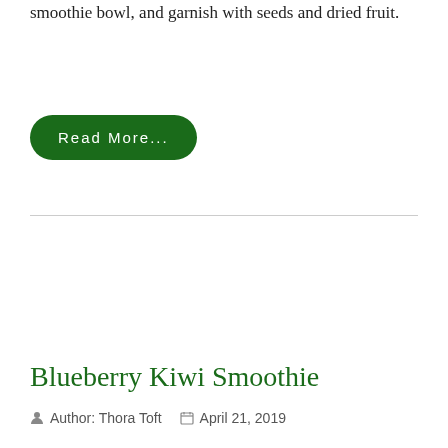smoothie bowl, and garnish with seeds and dried fruit.
Read More...
Blueberry Kiwi Smoothie
Author: Thora Toft   April 21, 2019